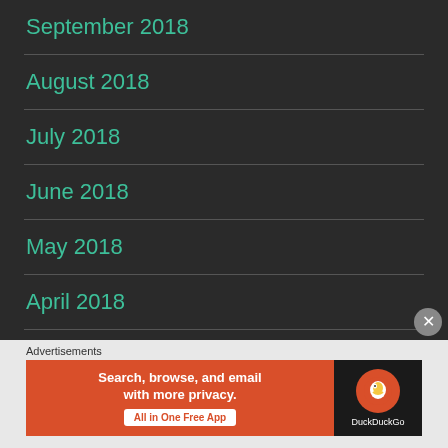September 2018
August 2018
July 2018
June 2018
May 2018
April 2018
March 2018
[Figure (screenshot): DuckDuckGo advertisement banner: orange section with text 'Search, browse, and email with more privacy. All in One Free App' and dark section with DuckDuckGo logo]